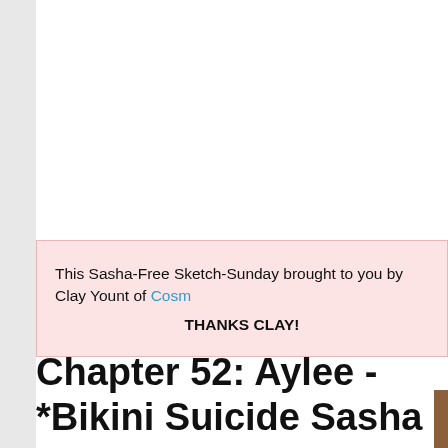This Sasha-Free Sketch-Sunday brought to you by Clay Yount of Cosm

THANKS CLAY!
Chapter 52: Aylee - *Bikini Suicide Sasha Days*